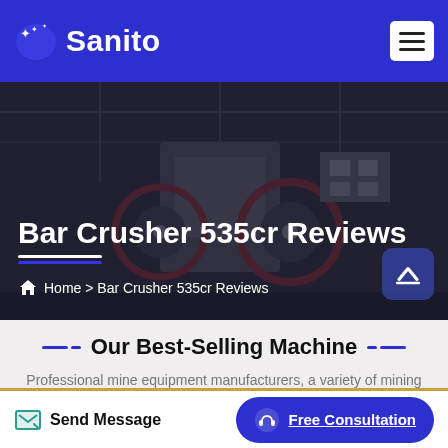Sanito
[Figure (photo): Industrial mining crushing machines in a factory setting, with large jaw crushers visible]
Bar Crusher 535cr Reviews
Home > Bar Crusher 535cr Reviews
Our Best-Selling Machine
Professional mine equipment manufacturers, a variety of mining machinery to meet your production needs.
Send Message
Free Consultation